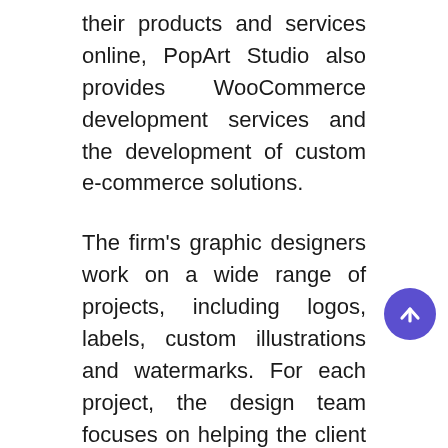their products and services online, PopArt Studio also provides WooCommerce development services and the development of custom e-commerce solutions.
The firm's graphic designers work on a wide range of projects, including logos, labels, custom illustrations and watermarks. For each project, the design team focuses on helping the client build a brand rather than focusing on a single design element. Designers work closely with clients to develop an in-depth understanding of their vision, resulting in the creation of branding elements that communicate a desired message.
What Customers Are Saying
Customers love that the staff members at PopArt